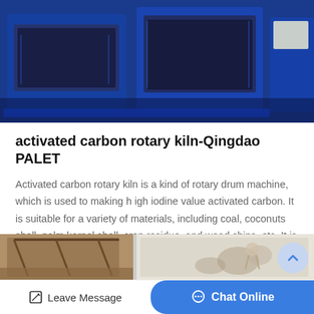[Figure (photo): Photo of industrial blue rotary kiln machines in a factory setting]
activated carbon rotary kiln-Qingdao PALET
Activated carbon rotary kiln is a kind of rotary drum machine, which is used to making h igh iodine value activated carbon. It is suitable for a variety of materials, including coal, coconuts shell, palm kernel shell, crop residue, and wood chips, etc. It is a…
[Figure (other): Get Price button - blue rounded rectangle]
[Figure (photo): Two product/industrial photos side by side at bottom of page]
Leave Message   Chat Online